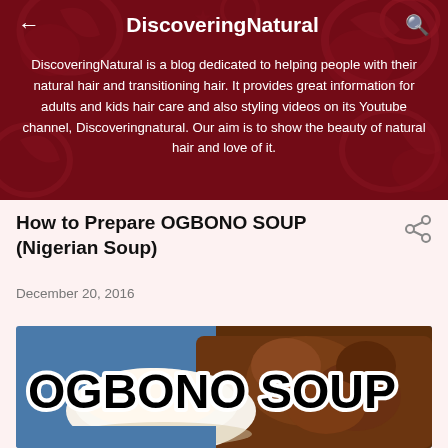DiscoveringNatural
DiscoveringNatural is a blog dedicated to helping people with their natural hair and transitioning hair. It provides great information for adults and kids hair care and also styling videos on its Youtube channel, Discoveringnatural. Our aim is to show the beauty of natural hair and love of it.
How to Prepare OGBONO SOUP (Nigerian Soup)
December 20, 2016
[Figure (photo): Photo of Ogbono Soup with white fufu/eba and brown stew, with text overlay reading 'OGBONO SOUP' in bold black letters with white outline]